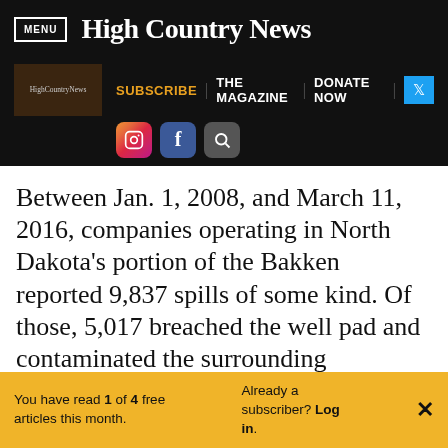MENU | High Country News
[Figure (screenshot): High Country News website navigation bar with logo, SUBSCRIBE, THE MAGAZINE, DONATE NOW links, Twitter button, Instagram, Facebook, and search icons]
Between Jan. 1, 2008, and March 11, 2016, companies operating in North Dakota's portion of the Bakken reported 9,837 spills of some kind. Of those, 5,017 breached the well pad and contaminated the surrounding landscape. The MHA
You have read 1 of 4 free articles this month. Already a subscriber? Log in. ×
Support independent journalism. Subscribe